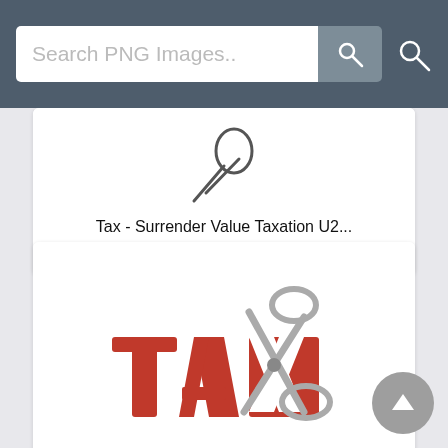[Figure (screenshot): Search PNG Images website screenshot showing a search bar at top and two image result cards below]
Search PNG Images..
Tax - Surrender Value Taxation U2...
Size: 400x300    filesize: 55.79 Kb
[Figure (photo): 3D red letters spelling TAX being cut by silver scissors]
Tax - . Hdpng.com Tax Cut.jpg Hdp...
Size: 1651x1163    filesize: 92.24 Kb